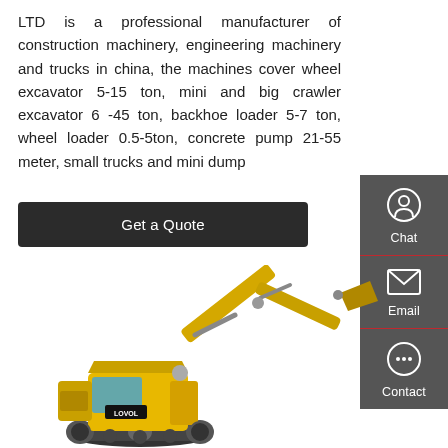LTD is a professional manufacturer of construction machinery, engineering machinery and trucks in china, the machines cover wheel excavator 5-15 ton, mini and big crawler excavator 6 -45 ton, backhoe loader 5-7 ton, wheel loader 0.5-5ton, concrete pump 21-55 meter, small trucks and mini dump
Get a Quote
[Figure (infographic): Sidebar with Chat, Email, and Contact icons on dark grey background with red separators]
[Figure (photo): Yellow LOVOL crawler excavator on white background]